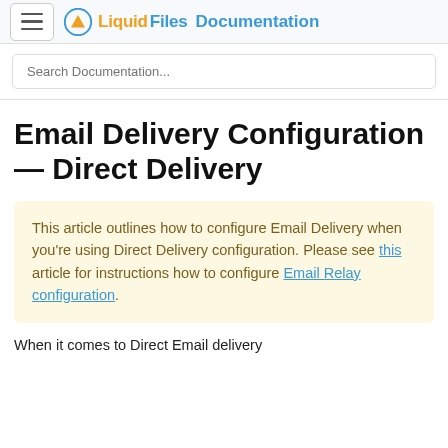LiquidFiles Documentation
Search Documentation...
Email Delivery Configuration — Direct Delivery
This article outlines how to configure Email Delivery when you're using Direct Delivery configuration. Please see this article for instructions how to configure Email Relay configuration.
When it comes to Direct Email delivery